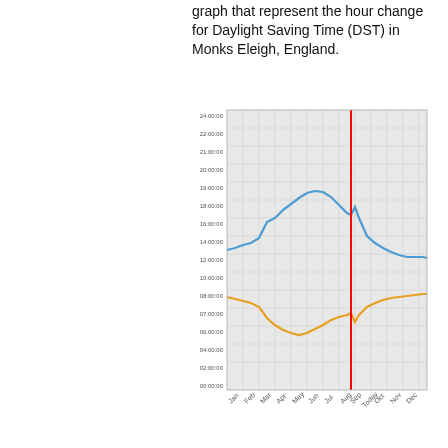graph that represent the hour change for Daylight Saving Time (DST) in Monks Eleigh, England.
[Figure (continuous-plot): Line chart showing sunrise (blue line) and sunset (orange line) times throughout the year for Monks Eleigh, England. A vertical red line marks 'Today'. The x-axis shows months Jan through Dec. The y-axis shows times from 00:00:00 to 24:00:00. The blue line (sunrise) rises from about 16:00 in Jan to a peak near 21:00 in Jun-Jul, then falls back. The orange line (sunset) dips from about 08:00 in Jan to a minimum near 05:00 in Jun, then rises back. Both lines show a sharp jump/step at the DST change points in spring and autumn.]